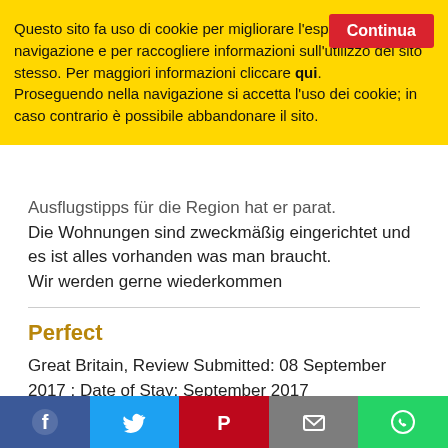Questo sito fa uso di cookie per migliorare l'esperienza di navigazione e per raccogliere informazioni sull'utilizzo del sito stesso. Per maggiori informazioni cliccare qui. Proseguendo nella navigazione si accetta l'uso dei cookie; in caso contrario è possibile abbandonare il sito.
Continua
Ausflugstipps für die Region hat er parat. Die Wohnungen sind zweckmäßig eingerichtet und es ist alles vorhanden was man braucht. Wir werden gerne wiederkommen
Perfect
Great Britain, Review Submitted: 08 September 2017 : Date of Stay: September 2017
We had a nice stay in the studio. You have